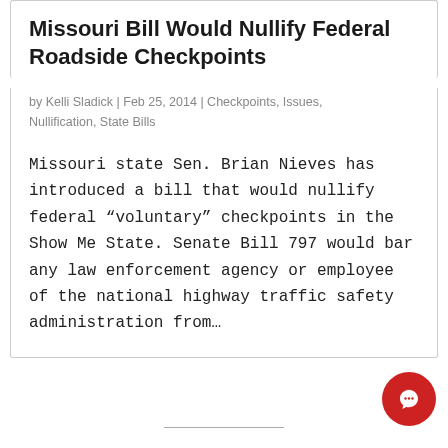Missouri Bill Would Nullify Federal Roadside Checkpoints
by Kelli Sladick | Feb 25, 2014 | Checkpoints, Issues, Nullification, State Bills
Missouri state Sen. Brian Nieves has introduced a bill that would nullify federal “voluntary” checkpoints in the Show Me State. Senate Bill 797 would bar any law enforcement agency or employee of the national highway traffic safety administration from…